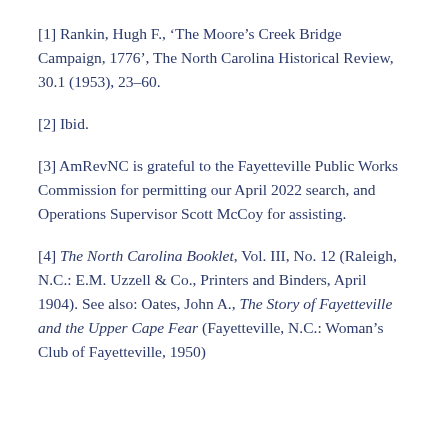[1] Rankin, Hugh F., 'The Moore's Creek Bridge Campaign, 1776', The North Carolina Historical Review, 30.1 (1953), 23–60.
[2] Ibid.
[3] AmRevNC is grateful to the Fayetteville Public Works Commission for permitting our April 2022 search, and Operations Supervisor Scott McCoy for assisting.
[4] The North Carolina Booklet, Vol. III, No. 12 (Raleigh, N.C.: E.M. Uzzell & Co., Printers and Binders, April 1904). See also: Oates, John A., The Story of Fayetteville and the Upper Cape Fear (Fayetteville, N.C.: Woman's Club of Fayetteville, 1950)